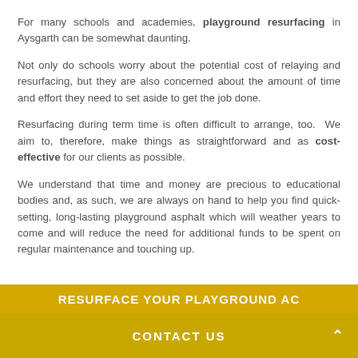For many schools and academies, playground resurfacing in Aysgarth can be somewhat daunting.
Not only do schools worry about the potential cost of relaying and resurfacing, but they are also concerned about the amount of time and effort they need to set aside to get the job done.
Resurfacing during term time is often difficult to arrange, too. We aim to, therefore, make things as straightforward and as cost-effective for our clients as possible.
We understand that time and money are precious to educational bodies and, as such, we are always on hand to help you find quick-setting, long-lasting playground asphalt which will weather years to come and will reduce the need for additional funds to be spent on regular maintenance and touching up.
CONTACT US